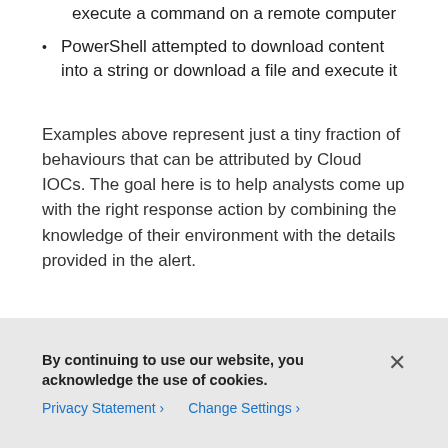execute a command on a remote computer
PowerShell attempted to download content into a string or download a file and execute it
Examples above represent just a tiny fraction of behaviours that can be attributed by Cloud IOCs. The goal here is to help analysts come up with the right response action by combining the knowledge of their environment with the details provided in the alert.
By continuing to use our website, you acknowledge the use of cookies.
Privacy Statement > Change Settings >